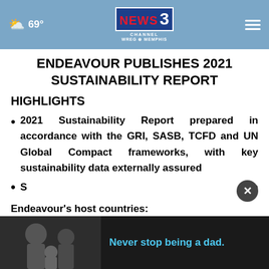69° NEWS CHANNEL 3 WREG MEMPHIS
ENDEAVOUR PUBLISHES 2021 SUSTAINABILITY REPORT
HIGHLIGHTS
2021 Sustainability Report prepared in accordance with the GRI, SASB, TCFD and UN Global Compact frameworks, with key sustainability data externally assured
S... to Endeavour's host countries:
[Figure (screenshot): Advertisement overlay showing an image of adults and a child with text 'Never stop being a dad.' in blue, with a dark background and a close (X) button.]